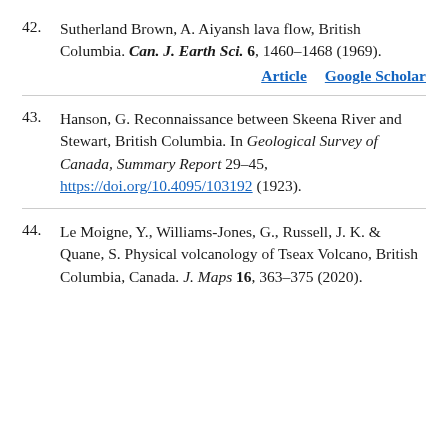42. Sutherland Brown, A. Aiyansh lava flow, British Columbia. Can. J. Earth Sci. 6, 1460–1468 (1969). Article  Google Scholar
43. Hanson, G. Reconnaissance between Skeena River and Stewart, British Columbia. In Geological Survey of Canada, Summary Report 29–45, https://doi.org/10.4095/103192 (1923).
44. Le Moigne, Y., Williams-Jones, G., Russell, J. K. & Quane, S. Physical volcanology of Tseax Volcano, British Columbia, Canada. J. Maps 16, 363–375 (2020).